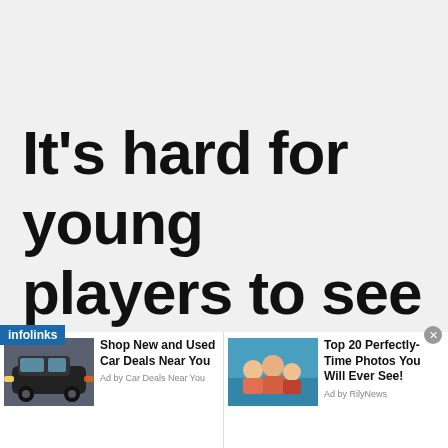It's hard for young players to see the big picture. They
[Figure (screenshot): Infolinks ad bar with two advertisements: 'Shop New and Used Car Deals Near You' (Ad by Car Deals Near You) and 'Top 20 Perfectly-Time Photos You Will Ever See!' (Ad by RilyNews). A close button (X) is shown top-right of the ad bar.]